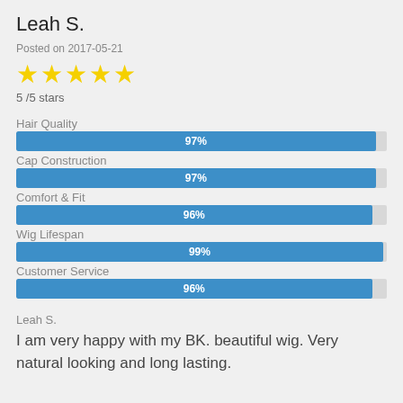Leah S.
Posted on 2017-05-21
[Figure (other): 5 yellow star rating icons]
5 /5 stars
[Figure (bar-chart): Rating breakdown]
Leah S.
I am very happy with my BK. beautiful wig. Very natural looking and long lasting.